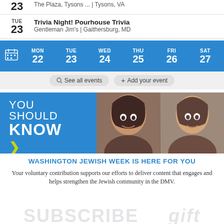23 | The Plaza, Tysons ... | Tysons, VA
TUE 23 | Trivia Night! Pourhouse Trivia | Gentleman Jim's | Gaithersburg, MD
[Figure (other): Day navigation bar showing MON 22, TUE 23, WED 24, THU 25, FRI 26, SAT 27]
See all events   + Add your event
[Figure (infographic): YOU SHOULD KNOW banner with two women's photos]
WASHINGTON JEWISH WEEK IS HERE FOR YOU
Your voluntary contribution supports our efforts to deliver content that engages and helps strengthen the Jewish community in the DMV.
CONTRIBUTE
[Figure (other): GOT A TIP? banner in light blue]